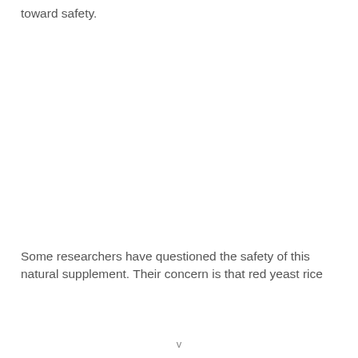toward safety.
Some researchers have questioned the safety of this natural supplement. Their concern is that red yeast rice
v